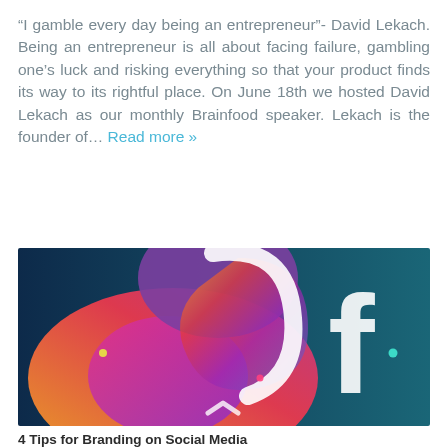“I gamble every day being an entrepreneur”- David Lekach. Being an entrepreneur is all about facing failure, gambling one’s luck and risking everything so that your product finds its way to its rightful place. On June 18th we hosted David Lekach as our monthly Brainfood speaker. Lekach is the founder of… Read more »
[Figure (illustration): Colorful social media branding graphic featuring Instagram gradient logo and Facebook 'f' logo against a dark blue background with decorative dots]
4 Tips for Branding on Social Media